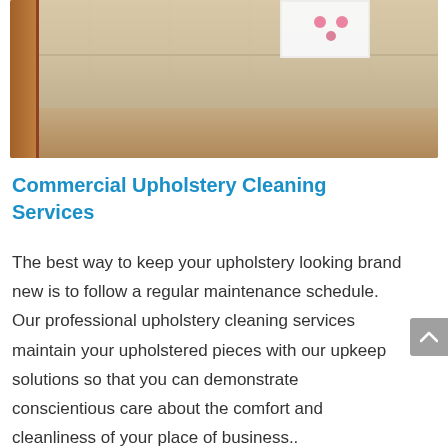[Figure (photo): Close-up photo of beige/cream upholstered sofa cushions with a white item (possibly a paper or tag) placed on top. The fabric shows texture detail. The sofa frame is visible on the left side.]
Commercial Upholstery Cleaning Services
The best way to keep your upholstery looking brand new is to follow a regular maintenance schedule. Our professional upholstery cleaning services maintain your upholstered pieces with our upkeep solutions so that you can demonstrate conscientious care about the comfort and cleanliness of your place of business..